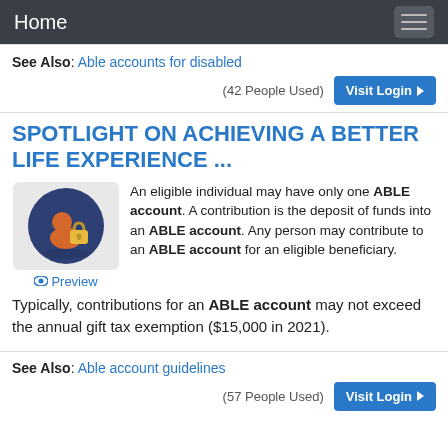Home
See Also: Able accounts for disabled
(42 People Used)   Visit Login
SPOTLIGHT ON ACHIEVING A BETTER LIFE EXPERIENCE ...
[Figure (illustration): Icon showing a person silhouette with a padlock on a dark blue circular background]
An eligible individual may have only one ABLE account. A contribution is the deposit of funds into an ABLE account. Any person may contribute to an ABLE account for an eligible beneficiary.
Typically, contributions for an ABLE account may not exceed the annual gift tax exemption ($15,000 in 2021).
See Also: Able account guidelines
(57 People Used)   Visit Login